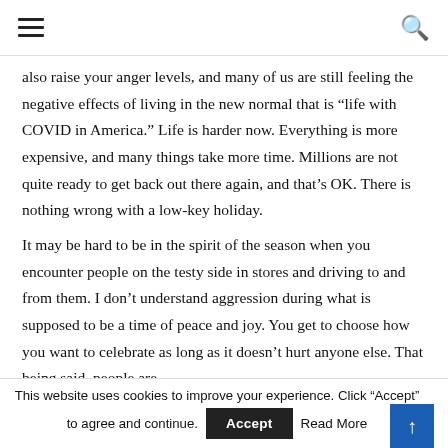[hamburger menu icon] [search icon]
also raise your anger levels, and many of us are still feeling the negative effects of living in the new normal that is “life with COVID in America.” Life is harder now. Everything is more expensive, and many things take more time. Millions are not quite ready to get back out there again, and that’s OK. There is nothing wrong with a low-key holiday.
It may be hard to be in the spirit of the season when you encounter people on the testy side in stores and driving to and from them. I don’t understand aggression during what is supposed to be a time of peace and joy. You get to choose how you want to celebrate as long as it doesn’t hurt anyone else. That being said, people are
This website uses cookies to improve your experience. Click “Accept” to agree and continue. [Accept] [Read More] [↑]